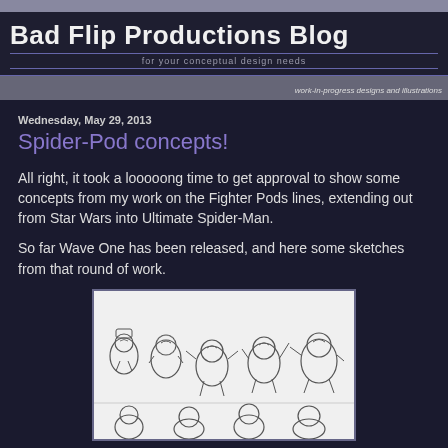Bad Flip Productions Blog — for your conceptual design needs — work-in-progress designs and illustrations
Wednesday, May 29, 2013
Spider-Pod concepts!
All right, it took a looooong time to get approval to show some concepts from my work on the Fighter Pods lines, extending out from Star Wars into Ultimate Spider-Man.
So far Wave One has been released, and here some sketches from that round of work.
[Figure (illustration): Pencil sketch concept drawings of Spider-Man Fighter Pod characters in various action poses, shown in two rows]